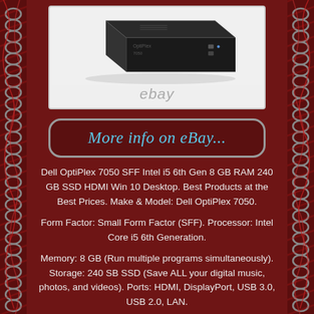[Figure (photo): Dell OptiPlex 7050 SFF desktop computer product photo on eBay listing, showing a black small form factor PC from above/side angle. The eBay watermark appears at the bottom of the image box.]
More info on eBay...
Dell OptiPlex 7050 SFF Intel i5 6th Gen 8 GB RAM 240 GB SSD HDMI Win 10 Desktop. Best Products at the Best Prices. Make & Model: Dell OptiPlex 7050.
Form Factor: Small Form Factor (SFF). Processor: Intel Core i5 6th Generation.
Memory: 8 GB (Run multiple programs simultaneously). Storage: 240 SB SSD (Save ALL your digital music, photos, and videos). Ports: HDMI, DisplayPort, USB 3.0, USB 2.0, LAN.